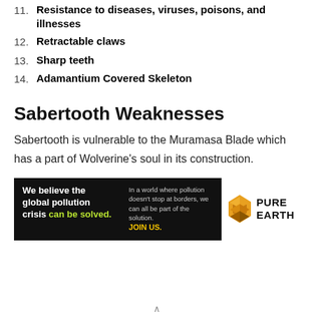11. Resistance to diseases, viruses, poisons, and illnesses
12. Retractable claws
13. Sharp teeth
14. Adamantium Covered Skeleton
Sabertooth Weaknesses
Sabertooth is vulnerable to the Muramasa Blade which has a part of Wolverine's soul in its construction.
[Figure (other): Pure Earth advertisement banner: 'We believe the global pollution crisis can be solved.' with Pure Earth logo]